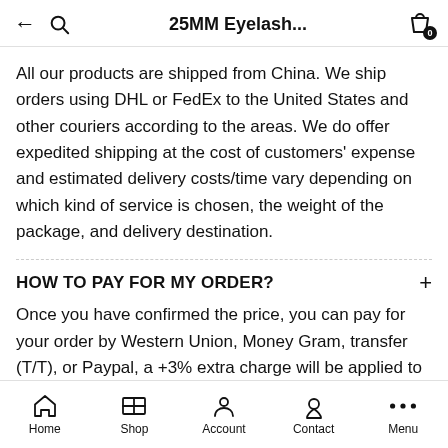25MM Eyelash...
All our products are shipped from China. We ship orders using DHL or FedEx to the United States and other couriers according to the areas. We do offer expedited shipping at the cost of customers' expense and estimated delivery costs/time vary depending on which kind of service is chosen, the weight of the package, and delivery destination.
HOW TO PAY FOR MY ORDER?
Once you have confirmed the price, you can pay for your order by Western Union, Money Gram, transfer (T/T), or Paypal, a +3% extra charge will be applied to your order price if you choose Paypal. Once the payment is completed, we will inform you as soon as possible.
Home  Shop  Account  Contact  Menu